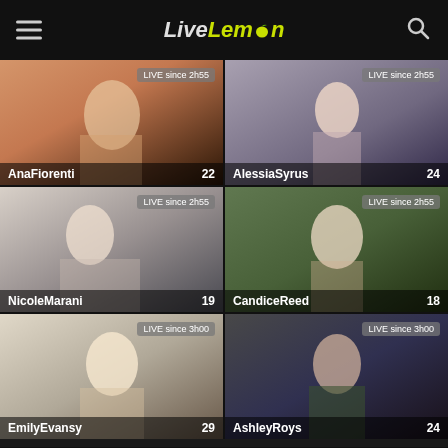LiveLemon
[Figure (screenshot): Grid of 6 live stream thumbnails on LiveLemon platform. Row 1: AnaFiorenti (age 22, LIVE since 2h55), AlessiaSyrus (age 24, LIVE since 2h55). Row 2: NicoleMarani (age 19, LIVE since 2h55), CandiceReed (age 18, LIVE since 2h55). Row 3: EmilyEvansy (age 29, LIVE since 3h00), AshleyRoys (age 24, LIVE since 3h00).]